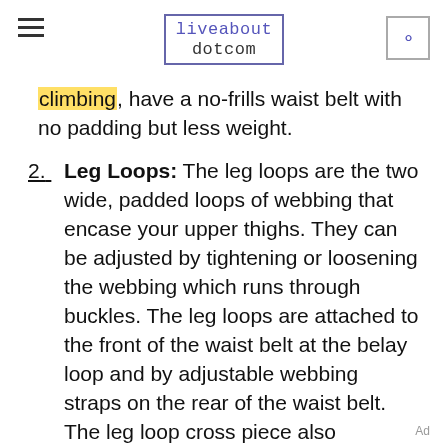liveabout dotcom
climbing, have a no-frills waist belt with no padding but less weight.
2. Leg Loops: The leg loops are the two wide, padded loops of webbing that encase your upper thighs. They can be adjusted by tightening or loosening the webbing which runs through buckles. The leg loops are attached to the front of the waist belt at the belay loop and by adjustable webbing straps on the rear of the waist belt. The leg loop cross piece also attaches the leg loops to each other at the front of the harness. The leg loops work in